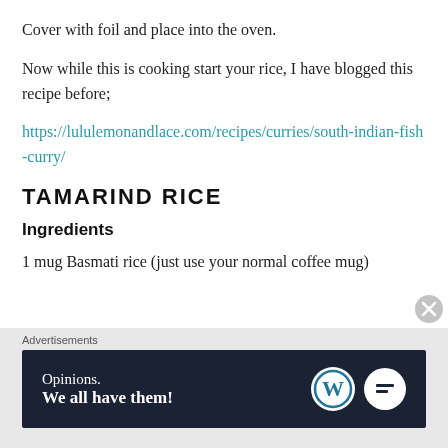Cover with foil and place into the oven.
Now while this is cooking start your rice, I have blogged this recipe before;
https://lululemonandlace.com/recipes/curries/south-indian-fish-curry/
TAMARIND RICE
Ingredients
1 mug Basmati rice (just use your normal coffee mug)
Advertisements